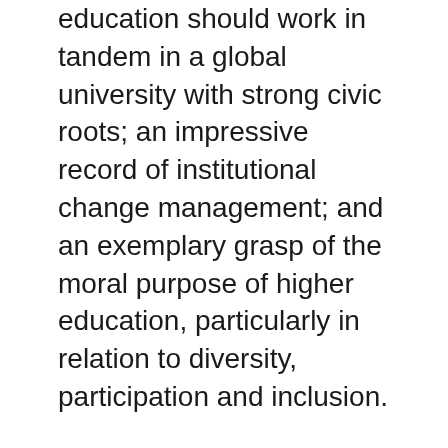education should work in tandem in a global university with strong civic roots; an impressive record of institutional change management; and an exemplary grasp of the moral purpose of higher education, particularly in relation to diversity, participation and inclusion.
“Her experience in academic leadership in Europe will be a real asset as we seek to enhance our international perspective. I look forward to working with her in the years to come.”
The recruitment process involved an extensive international search, and consultation within the University community.
Sir Alan will continue to undertake his full duties